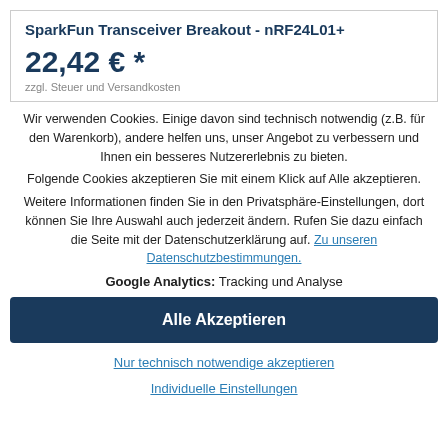SparkFun Transceiver Breakout - nRF24L01+
22,42 € *
Wir verwenden Cookies. Einige davon sind technisch notwendig (z.B. für den Warenkorb), andere helfen uns, unser Angebot zu verbessern und Ihnen ein besseres Nutzererlebnis zu bieten.
Folgende Cookies akzeptieren Sie mit einem Klick auf Alle akzeptieren.
Weitere Informationen finden Sie in den Privatsphäre-Einstellungen, dort können Sie Ihre Auswahl auch jederzeit ändern. Rufen Sie dazu einfach die Seite mit der Datenschutzerklärung auf. Zu unseren Datenschutzbestimmungen.
Google Analytics: Tracking und Analyse
Alle Akzeptieren
Nur technisch notwendige akzeptieren
Individuelle Einstellungen